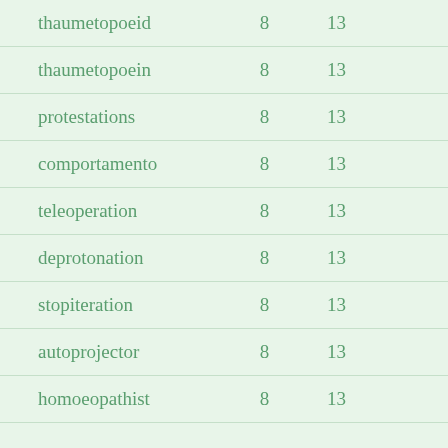| thaumetopoeid | 8 | 13 |
| thaumetopoein | 8 | 13 |
| protestations | 8 | 13 |
| comportamento | 8 | 13 |
| teleoperation | 8 | 13 |
| deprotonation | 8 | 13 |
| stopiteration | 8 | 13 |
| autoprojector | 8 | 13 |
| homoeopathist | 8 | 13 |